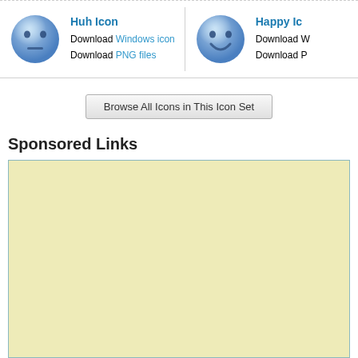[Figure (illustration): Blue smiley face icon with neutral/confused expression (Huh Icon)]
Huh Icon
Download Windows icon
Download PNG files
[Figure (illustration): Blue smiley face icon with happy/smiling expression (Happy Icon) - partially cropped on right]
Happy Ic...
Download W...
Download P...
Browse All Icons in This Icon Set
Sponsored Links
[Figure (other): Advertisement placeholder box with beige/cream background and teal border]